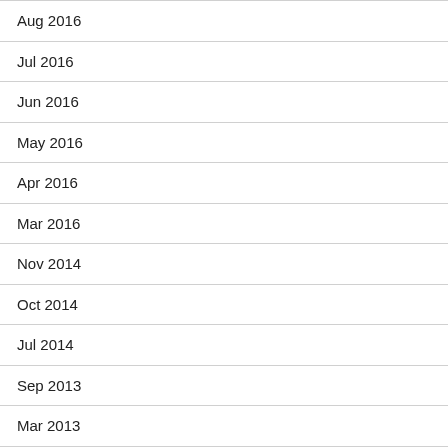Aug 2016
Jul 2016
Jun 2016
May 2016
Apr 2016
Mar 2016
Nov 2014
Oct 2014
Jul 2014
Sep 2013
Mar 2013
Feb 2012